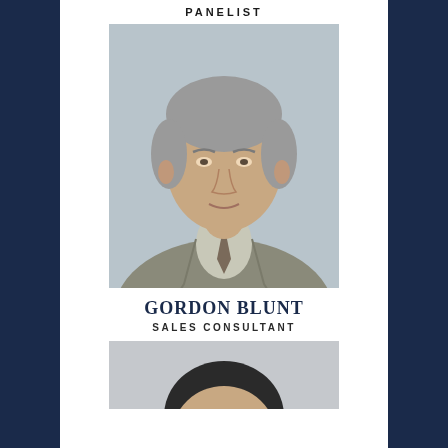PANELIST
[Figure (photo): Professional headshot of Gordon Blunt, a middle-aged man with gray hair wearing a gray suit and patterned tie, against a light gray background]
GORDON BLUNT
SALES CONSULTANT
[Figure (photo): Top of head/hair of another person, partially visible at the bottom of the page]